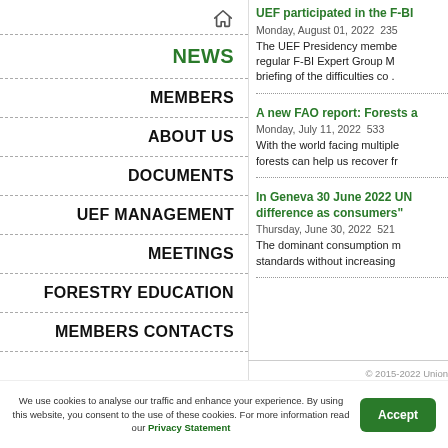NEWS
MEMBERS
ABOUT US
DOCUMENTS
UEF MANAGEMENT
MEETINGS
FORESTRY EDUCATION
MEMBERS CONTACTS
UEF participated in the F-BI
Monday, August 01, 2022  235
The UEF Presidency member regular F-BI Expert Group Me briefing of the difficulties co .
A new FAO report: Forests a
Monday, July 11, 2022  533
With the world facing multiple forests can help us recover fr
In Geneva 30 June 2022 UN difference as consumers"
Thursday, June 30, 2022  521
The dominant consumption m standards without increasing
© 2015-2022 Union
All Right
We use cookies to analyse our traffic and enhance your experience. By using this website, you consent to the use of these cookies. For more information read our Privacy Statement